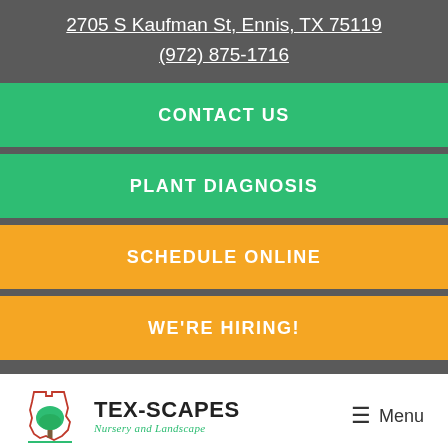2705 S Kaufman St, Ennis, TX 75119
(972) 875-1716
CONTACT US
PLANT DIAGNOSIS
SCHEDULE ONLINE
WE'RE HIRING!
[Figure (logo): Tex-Scapes Nursery and Landscape logo with Texas outline and tree illustration]
Menu